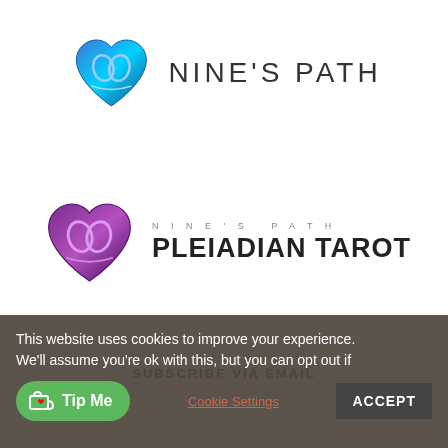[Figure (logo): Nine's Path logo with blue heart icon and text NINE'S PATH in light uppercase letters]
[Figure (logo): Nine's Path Pleiadian Tarot logo with purple heart icon, small NINE'S PATH text above large PLEIADIAN TAROT text]
SUBSCRIBE VIA EMAIL
This website uses cookies to improve your experience. We'll assume you're ok with this, but you can opt out if
Tip Me
Cookie Settings
ACCEPT